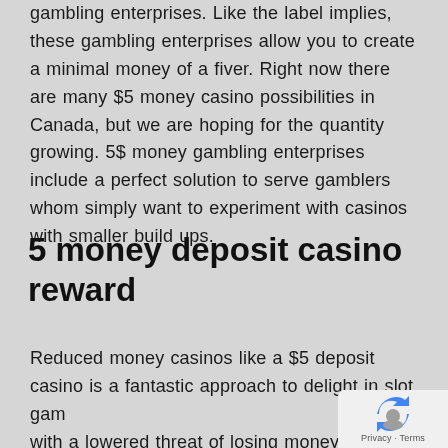gambling enterprises. Like the label implies, these gambling enterprises allow you to create a minimal money of a fiver. Right now there are many $5 money casino possibilities in Canada, but we are hoping for the quantity growing. 5$ money gambling enterprises include a perfect solution to serve gamblers whom simply want to experiment with casinos with smaller build ups.
5 money deposit casino reward
Reduced money casinos like a $5 deposit casino is a fantastic approach to delight in slot gam... with a lowered threat of losing money. Exact... what relates to incentives though, the truth is